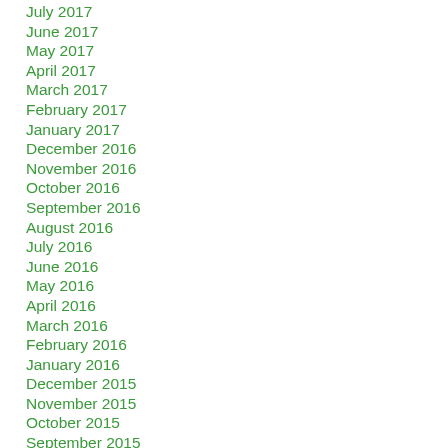July 2017
June 2017
May 2017
April 2017
March 2017
February 2017
January 2017
December 2016
November 2016
October 2016
September 2016
August 2016
July 2016
June 2016
May 2016
April 2016
March 2016
February 2016
January 2016
December 2015
November 2015
October 2015
September 2015
August 2015
July 2015
April 2015